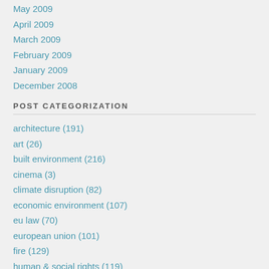May 2009
April 2009
March 2009
February 2009
January 2009
December 2008
POST CATEGORIZATION
architecture (191)
art (26)
built environment (216)
cinema (3)
climate disruption (82)
economic environment (107)
eu law (70)
european union (101)
fire (129)
human & social rights (119)
human environment (83)
human health & safety (179)